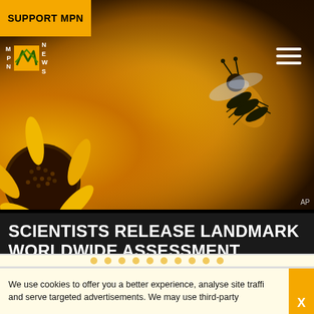SUPPORT MPN
[Figure (photo): Close-up macro photo of a bee on a yellow sunflower. The bee is visible in the upper right area, and the sunflower petals and center fill the frame in vibrant yellow and orange tones. AP photo credit visible.]
SCIENTISTS RELEASE LANDMARK WORLDWIDE ASSESSMENT DETAILING EFFECTS OF BEE-KILLING PESTICIDES
We use cookies to offer you a better experience, analyse site traffic, and serve targeted advertisements. We may use third-party